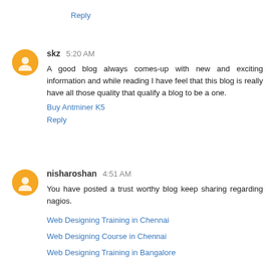Reply
skz 5:20 AM
A good blog always comes-up with new and exciting information and while reading I have feel that this blog is really have all those quality that qualify a blog to be a one.
Buy Antminer K5
Reply
nisharoshan 4:51 AM
You have posted a trust worthy blog keep sharing regarding nagios.
Web Designing Training in Chennai
Web Designing Course in Chennai
Web Designing Training in Bangalore